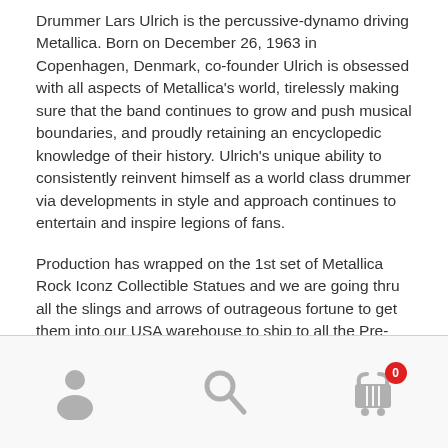Drummer Lars Ulrich is the percussive-dynamo driving Metallica. Born on December 26, 1963 in Copenhagen, Denmark, co-founder Ulrich is obsessed with all aspects of Metallica's world, tirelessly making sure that the band continues to grow and push musical boundaries, and proudly retaining an encyclopedic knowledge of their history. Ulrich's unique ability to consistently reinvent himself as a world class drummer via developments in style and approach continues to entertain and inspire legions of fans.
Production has wrapped on the 1st set of Metallica Rock Iconz Collectible Statues and we are going thru all the slings and arrows of outrageous fortune to get them into our USA warehouse to ship to all the Pre-Orders. Stay tuned here for updates.
[Figure (infographic): Bottom navigation bar with three icons: person/account icon (left), search/magnifier icon (center), shopping cart icon with red badge showing 0 (right)]